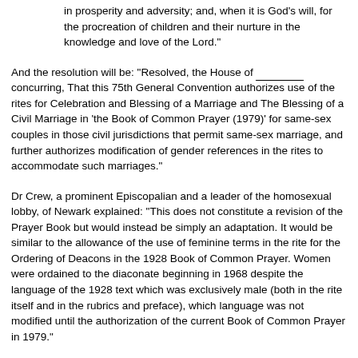in prosperity and adversity; and, when it is God's will, for the procreation of children and their nurture in the knowledge and love of the Lord."
And the resolution will be: "Resolved, the House of ________ concurring, That this 75th General Convention authorizes use of the rites for Celebration and Blessing of a Marriage and The Blessing of a Civil Marriage in 'the Book of Common Prayer (1979)' for same-sex couples in those civil jurisdictions that permit same-sex marriage, and further authorizes modification of gender references in the rites to accommodate such marriages."
Dr Crew, a prominent Episcopalian and a leader of the homosexual lobby, of Newark explained: "This does not constitute a revision of the Prayer Book but would instead be simply an adaptation. It would be similar to the allowance of the use of feminine terms in the rite for the Ordering of Deacons in the 1928 Book of Common Prayer. Women were ordained to the diaconate beginning in 1968 despite the language of the 1928 text which was exclusively male (both in the rite itself and in the rubrics and preface), which language was not modified until the authorization of the current Book of Common Prayer in 1979."
In my booklet, Episcopal Innovations 1960-2004 (2006, from http://www.anglicanmarketplace.com/ or from 1-800-727-1928), I sought to show how that major changes were made in the religion of the Protestant Episcopal Church beginning in the 1960s, and that the results of them...